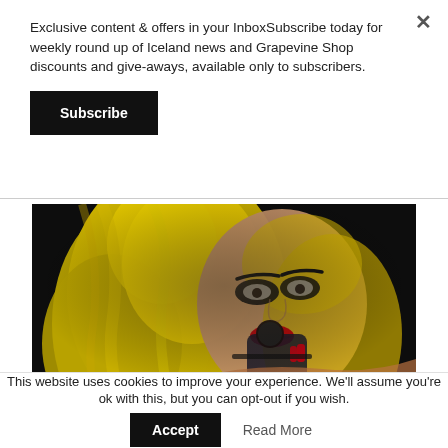×
Exclusive content & offers in your InboxSubscribe today for weekly round up of Iceland news and Grapevine Shop discounts and give-aways, available only to subscribers.
Subscribe
[Figure (photo): A performer with bright yellow/blonde hair, dramatic eye makeup, and red lipstick, holding a microphone to their mouth, wearing a dark glove, against a black background.]
This website uses cookies to improve your experience. We'll assume you're ok with this, but you can opt-out if you wish.
Accept
Read More